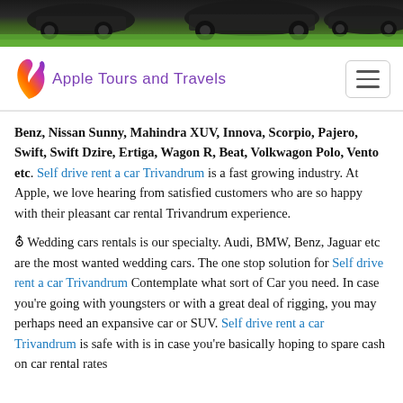[Figure (photo): Top strip showing cars parked on green grass, partially cropped]
[Figure (logo): Apple Tours and Travels logo with colorful leaf/flame icon and purple text]
Benz, Nissan Sunny, Mahindra XUV, Innova, Scorpio, Pajero, Swift, Swift Dzire, Ertiga, Wagon R, Beat, Volkwagon Polo, Vento etc. Self drive rent a car Trivandrum is a fast growing industry. At Apple, we love hearing from satisfied customers who are so happy with their pleasant car rental Trivandrum experience.
☑ Wedding cars rentals is our specialty. Audi, BMW, Benz, Jaguar etc are the most wanted wedding cars. The one stop solution for Self drive rent a car Trivandrum Contemplate what sort of Car you need. In case you're going with youngsters or with a great deal of rigging, you may perhaps need an expansive car or SUV. Self drive rent a car Trivandrum is safe with is in case you're basically hoping to spare cash on car rental rates